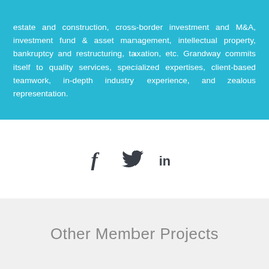estate and construction, cross-border investment and M&A, investment fund & asset management, intellectual property, bankruptcy and restructuring, taxation, etc. Grandway commits itself to quality services, specialized expertises, client-based teamwork, in-depth industry experience, and zealous representation.
[Figure (other): Social media icons: Facebook (f), Twitter (bird), LinkedIn (in)]
Other Member Projects